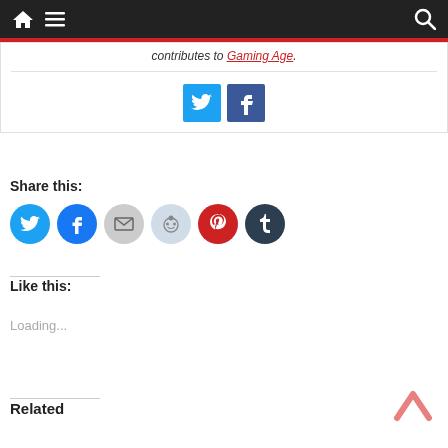Navigation bar with home icon, menu icon, and search icon
contributes to Gaming Age.
[Figure (other): Twitter and Facebook social media icon buttons (square, colored)]
Share this:
[Figure (other): Row of circular share buttons: Twitter, Facebook, Email, Reddit, Pinterest, Tumblr]
Like this:
Loading...
Related